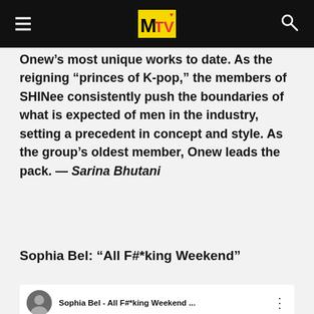MTV
Onew’s most unique works to date. As the reigning “Princes of K-pop,” the members of SHINee consistently push the boundaries of what is expected of men in the industry, setting a precedent in concept and style. As the group’s oldest member, Onew leads the pack. — Sarina Bhutani
Sophia Bel: “All F#*king Weekend”
[Figure (screenshot): YouTube video embed showing Sophia Bel - All F#*king Weekend with a play button overlay and a woman with wet blonde hair in the thumbnail]